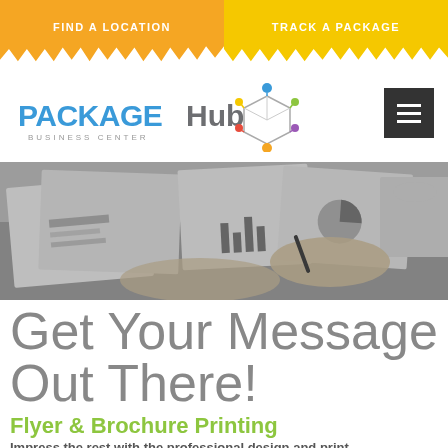FIND A LOCATION
TRACK A PACKAGE
[Figure (logo): PackageHub Business Center logo with colorful connected nodes icon]
[Figure (photo): Black and white photo of hands reviewing printed documents, charts and reports on a desk]
Get Your Message Out There!
Flyer & Brochure Printing
Impress the rest with the professional design and print